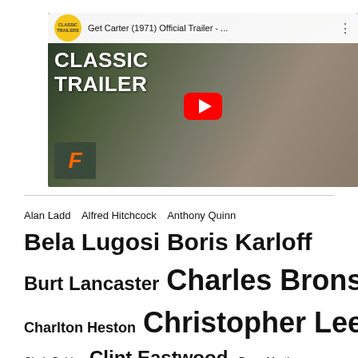[Figure (screenshot): YouTube video thumbnail for 'Get Carter (1971) Official Trailer' showing a man holding a shotgun with 'CLASSIC TRAILER' text overlay, YouTube play button, Classic Trailers badge, and Fandango logo]
Alan Ladd  Alfred Hitchcock  Anthony Quinn
Bela Lugosi  Boris Karloff
Burt Lancaster  Charles Bronson
Charlton Heston  Christopher Lee
Clark Gable  Clint Eastwood  Dean Martin
Ernest Borgnine  Errol Flynn  Frank Sinatra  Gary Cooper